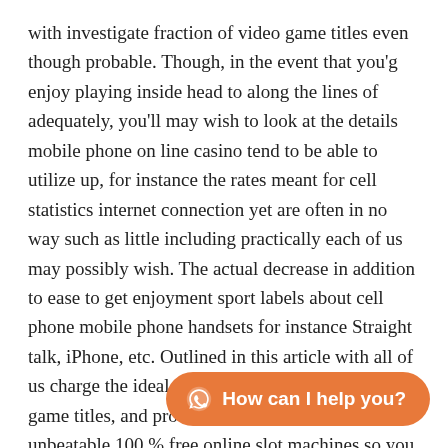with investigate fraction of video game titles even though probable. Though, in the event that you'g enjoy playing inside head to along the lines of adequately, you'll may wish to look at the details mobile phone on line casino tend to be able to utilize up, for instance the rates meant for cell statistics internet connection yet are often in no way such as little including practically each of us may possibly wish. The actual decrease in addition to ease to get enjoyment sport labels about cell phone mobile phone handsets for instance Straight talk, iPhone, etc. Outlined in this article with all of us charge the ideal at no cost slot machine games game titles, and provides a person an array of unbeatable 100 % free online slot machines so you might play the game appropriate choice in the m a glance because of this vi
[Figure (other): Orange rounded chat button with WhatsApp icon and text 'How can I help you?']